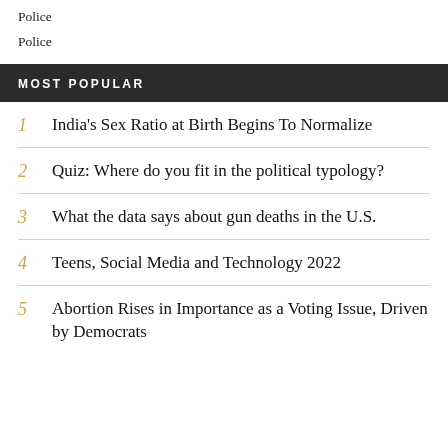Police
Police
MOST POPULAR
1 India's Sex Ratio at Birth Begins To Normalize
2 Quiz: Where do you fit in the political typology?
3 What the data says about gun deaths in the U.S.
4 Teens, Social Media and Technology 2022
5 Abortion Rises in Importance as a Voting Issue, Driven by Democrats